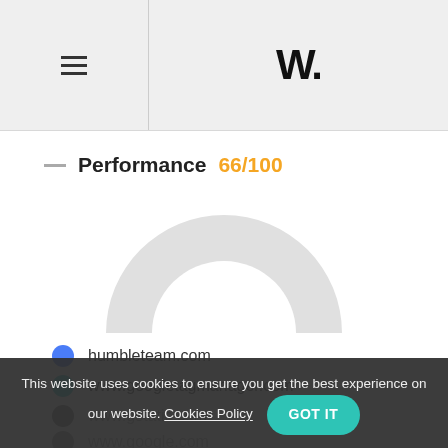W.
Performance 66/100
[Figure (other): Semi-circular gauge chart (donut/half-circle) showing performance score, light gray fill]
humbleteam.com
www.googletagmanager.com
www.gstatic.com
www.google.com
www.google-analytics.com
This website uses cookies to ensure you get the best experience on our website. Cookies Policy
GOT IT